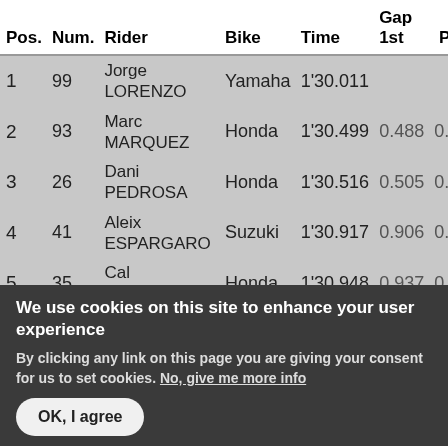| Pos. | Num. | Rider | Bike | Time | Gap 1st | Prev. |
| --- | --- | --- | --- | --- | --- | --- |
| 1 | 99 | Jorge LORENZO | Yamaha | 1'30.011 |  |  |
| 2 | 93 | Marc MARQUEZ | Honda | 1'30.499 | 0.488 | 0.488 |
| 3 | 26 | Dani PEDROSA | Honda | 1'30.516 | 0.505 | 0.017 |
| 4 | 41 | Aleix ESPARGARO | Suzuki | 1'30.917 | 0.906 | 0.401 |
| 5 | 35 | Cal CRUTCHLOW | Honda | 1'30.948 | 0.937 | 0.031 |
|  |  | Bradley |  |  |  |  |
We use cookies on this site to enhance your user experience
By clicking any link on this page you are giving your consent for us to set cookies. No, give me more info
OK, I agree